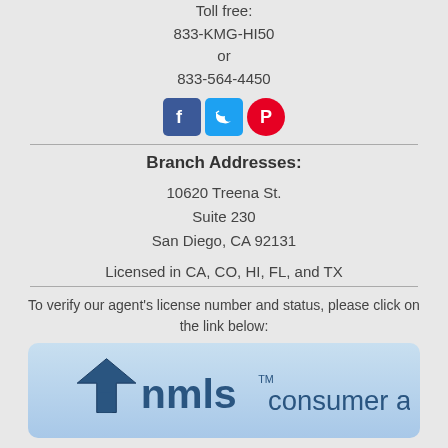Toll free:
833-KMG-HI50
or
833-564-4450
[Figure (illustration): Social media icons: Facebook (blue square), Twitter (blue square), Pinterest (red circle)]
Branch Addresses:
10620 Treena St.
Suite 230
San Diego, CA 92131
Licensed in CA, CO, HI, FL, and TX
To verify our agent's license number and status, please click on the link below:
[Figure (logo): NMLS Consumer Access logo on a light blue rounded rectangle background]